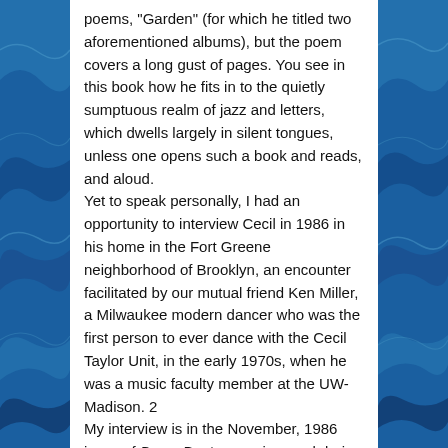poems, "Garden" (for which he titled two aforementioned albums), but the poem covers a long gust of pages. You see in this book how he fits in to the quietly sumptuous realm of jazz and letters, which dwells largely in silent tongues, unless one opens such a book and reads, and aloud.
Yet to speak personally, I had an opportunity to interview Cecil in 1986 in his home in the Fort Greene neighborhood of Brooklyn, an encounter facilitated by our mutual friend Ken Miller, a Milwaukee modern dancer who was the first person to ever dance with the Cecil Taylor Unit, in the early 1970s, when he was a music faculty member at the UW-Madison. 2
My interview is in the November, 1986 issue of Down Beat magazine, and during the conversation Taylor sat on a rug cross-legged in a Buddah-like posture beside his nine-foot grand practice piano. Utterly gracious, he expounded and reflected, thoughtfully, expansively. He shared with me some of his visions of music, culture and life. The article